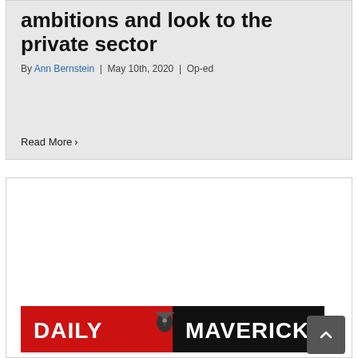ambitions and look to the private sector
By Ann Bernstein | May 10th, 2020 | Op-ed
Read More >
[Figure (logo): Daily Maverick logo — red left half with 'DAILY' in white bold text, black right half with 'MAVERICK' in white bold text, with a bird/eagle graphic in the center dividing the two halves]